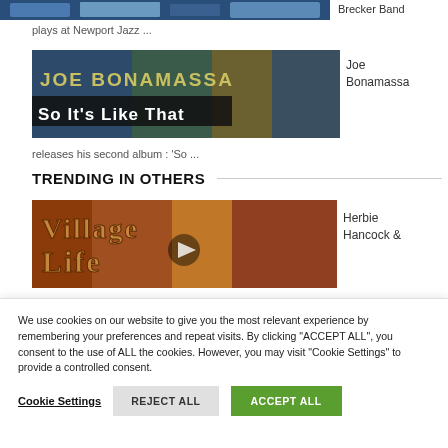[Figure (photo): Partial image at top, appears to be Brecker Band album or concert photo, cropped]
Brecker Band
plays at Newport Jazz ...
[Figure (photo): Joe Bonamassa album cover: 'So It's Like That' with large yellow text on dark background]
Joe Bonamassa
releases his second album : 'So ...
TRENDING IN OTHERS
[Figure (photo): Village Life album cover with ornate brown/gold text]
Herbie Hancock &
We use cookies on our website to give you the most relevant experience by remembering your preferences and repeat visits. By clicking "ACCEPT ALL", you consent to the use of ALL the cookies. However, you may visit "Cookie Settings" to provide a controlled consent.
Cookie Settings
REJECT ALL
ACCEPT ALL